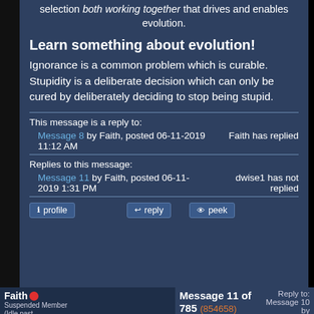selection both working together that drives and enables evolution.
Learn something about evolution!
Ignorance is a common problem which is curable. Stupidity is a deliberate decision which can only be cured by deliberately deciding to stop being stupid.
This message is a reply to:
Message 8 by Faith, posted 06-11-2019 11:12 AM	Faith has replied
Replies to this message:
Message 11 by Faith, posted 06-11-2019 1:31 PM	dwise1 has not replied
Faith
Suspended Member
(Idle past 776 days)
Message 11 of 785 (854658)
06-11-2019 1:31 PM
Reply to: Message 10 by dwise1
06-11-2019 12:55 PM
Of course I didn't really expect an explanation of how random mutations could possibly form an organized genetic anything